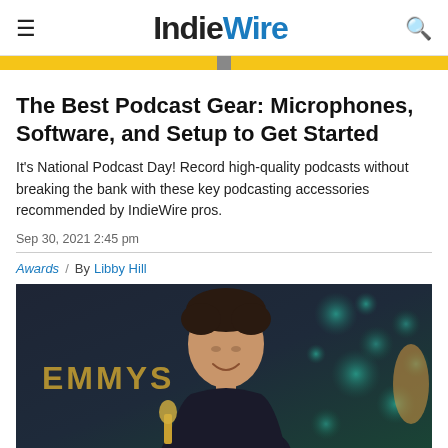IndieWire
The Best Podcast Gear: Microphones, Software, and Setup to Get Started
It's National Podcast Day! Record high-quality podcasts without breaking the bank with these key podcasting accessories recommended by IndieWire pros.
Sep 30, 2021 2:45 pm
Awards / By Libby Hill
[Figure (photo): Man smiling at the Emmys holding an Emmy award statuette, with EMMYS text visible in background. Teal/green bokeh background.]